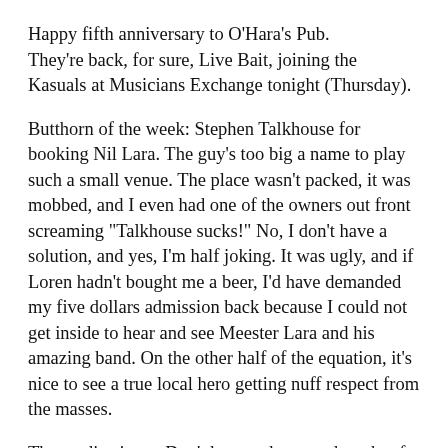Happy fifth anniversary to O'Hara's Pub. They're back, for sure, Live Bait, joining the Kasuals at Musicians Exchange tonight (Thursday).
Butthorn of the week: Stephen Talkhouse for booking Nil Lara. The guy's too big a name to play such a small venue. The place wasn't packed, it was mobbed, and I even had one of the owners out front screaming "Talkhouse sucks!" No, I don't have a solution, and yes, I'm half joking. It was ugly, and if Loren hadn't bought me a beer, I'd have demanded my five dollars admission back because I could not get inside to hear and see Meester Lara and his amazing band. On the other half of the equation, it's nice to see a true local hero getting nuff respect from the masses.
The media circus: Don't know what you thought of John Hood's take on White Zombie, especially because you probably aren't aware -- and he didn't mention it -- that